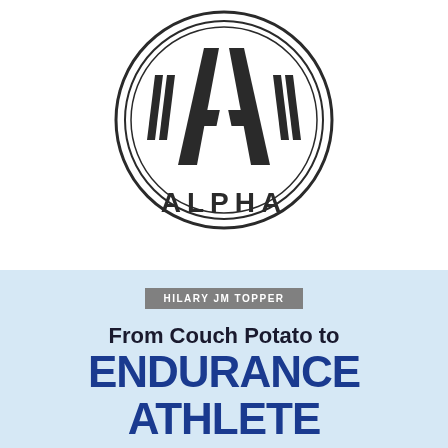[Figure (logo): Alpha logo: a stylized letter A with diagonal slash marks on each side, enclosed in two concentric circles, with the word ALPHA in bold capitals beneath the A symbol]
HILARY JM TOPPER
From Couch Potato to ENDURANCE ATHLETE